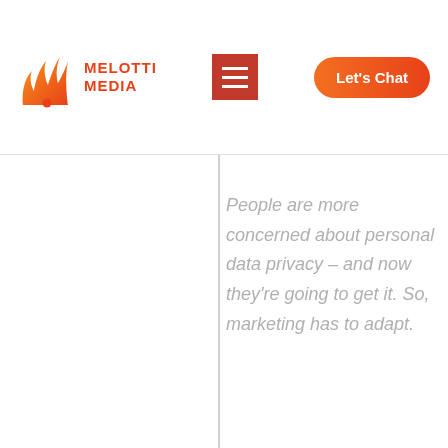[Figure (logo): Melotti Media logo with stylized M flame icon and red text reading MELOTTI MEDIA]
People are more concerned about personal data privacy – and now they’re going to get it. So, marketing has to adapt.